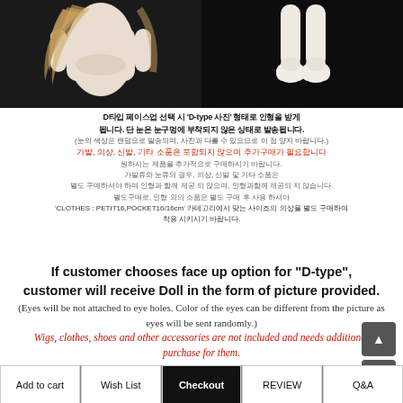[Figure (photo): Two photos of a doll body/parts on dark background side by side]
D-type 선택 시 사진과 같은 형태의 인형으로 발송됩니다. (눈은 눈 구멍에 부착되지 않은 상태이며, 눈의 색상은 랜덤으로 발송되어 사진과 다를 수 있습니다.) 가발, 의상, 신발, 기타 소품은 포함되지 않으며 추가 구매가 필요합니다. 원하시는 제품을 추가적으로 구매하시기 바랍니다. 가발류, 눈, 의상, 신발 등 부속 도구, 눈 부착은 별도 구매가 필요하며, 인형과 함께 제공되지 않습니다. 별도구매로, 인형 외의 소품은 별도 구매 후 사용 하셔야 합니다. 'CLOTHES : PETIT16,POCKET16/16cm' 카테고리에서 맞는 사이즈의 의상을 별도 구매하여 착용 시키시기 바랍니다.
If customer chooses face up option for "D-type", customer will receive Doll in the form of picture provided. (Eyes will be not attached to eye holes. Color of the eyes can be different from the picture as eyes will be sent randomly.) Wigs, clothes, shoes and other accessories are not included and needs additional purchase for them. -needs additional purchase of what you prefer. Wigs, eyes, clothes and shoes in the picture can be found